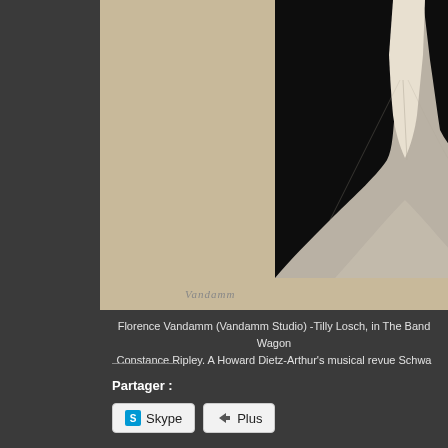[Figure (photo): Black and white photograph of a dancer (Tilly Losch) with a billowing white dress/skirt flaring outward at the bottom, set against a dark background, mounted on a cream/beige paper mat. A handwritten signature reads 'Vandamm' below the photo.]
Florence Vandamm (Vandamm Studio) -Tilly Losch, in The Band Wagon Constance Ripley. A Howard Dietz-Arthur's musical revue Schwa
Partager :